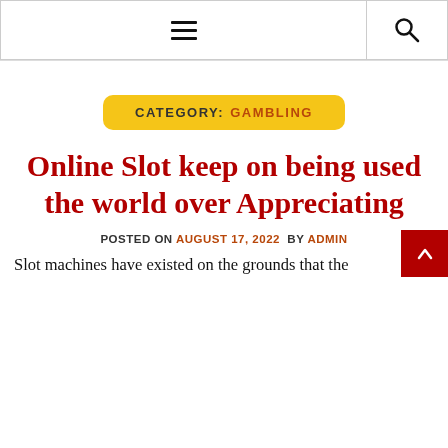☰ 🔍
CATEGORY: GAMBLING
Online Slot keep on being used the world over Appreciating
POSTED ON AUGUST 17, 2022  BY ADMIN
Slot machines have existed on the grounds that the